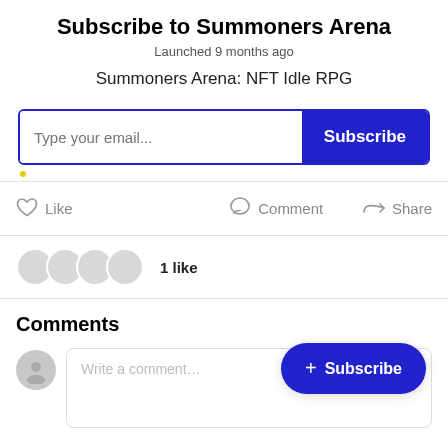Subscribe to Summoners Arena
Launched 9 months ago
Summoners Arena: NFT Idle RPG
[Figure (screenshot): Email subscription form with text input 'Type your email...' and blue 'Subscribe' button]
[Figure (infographic): Like, Comment, and Share action buttons row]
1 like
Comments
[Figure (screenshot): Comment input box with user avatar and placeholder 'Write a comment...']
[Figure (infographic): Floating blue Subscribe button with plus icon]